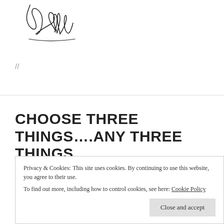[Figure (illustration): Handwritten cursive signature reading 'Noelle']
Follow @3MileAnHour
//
CHOOSE THREE THINGS….ANY THREE THINGS
Privacy & Cookies: This site uses cookies. By continuing to use this website, you agree to their use.
To find out more, including how to control cookies, see here: Cookie Policy
Close and accept